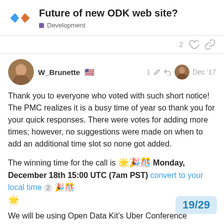Future of new ODK web site? — Development
W_Brunette 🇺🇸 — 1 edit — Dec '17
Thank you to everyone who voted with such short notice! The PMC realizes it is a busy time of year so thank you for your quick responses. There were votes for adding more times; however, no suggestions were made on when to add an additional time slot so none got added.
The winning time for the call is 🌟🎉🎊 Monday, December 18th 15:00 UTC (7am PST) convert to your local time 2 🎉🎊
🌟
We will be using Open Data Kit's Uber Conference system:
Link: https://www.uberconference.com/opendatakit 3
The goal of the call is to gather information
19 / 29